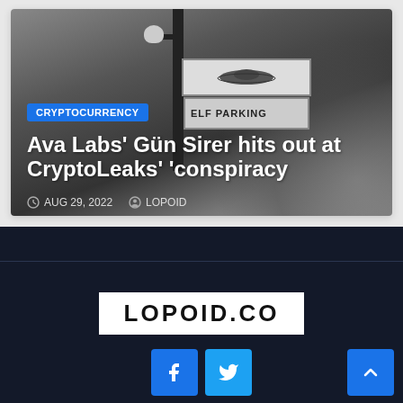[Figure (photo): Black and white photo of a street sign pole with a lamp, a UFO-shaped sign, and a parking sign, against a cloudy dark sky]
CRYPTOCURRENCY
Ava Labs' Gün Sirer hits out at CryptoLeaks' 'conspiracy
AUG 29, 2022   LOPOID
[Figure (logo): LOPOID.CO logo in black bold uppercase letters on white background]
LOPOID.CO